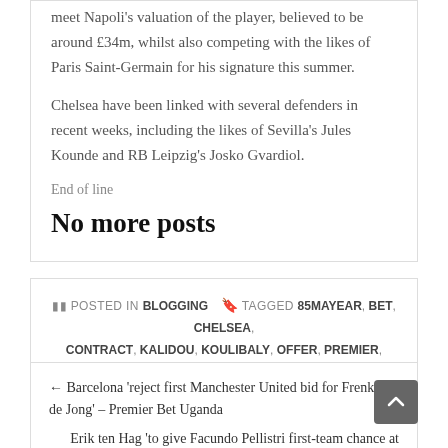meet Napoli's valuation of the player, believed to be around £34m, whilst also competing with the likes of Paris Saint-Germain for his signature this summer.
Chelsea have been linked with several defenders in recent weeks, including the likes of Sevilla's Jules Kounde and RB Leipzig's Josko Gvardiol.
End of line
No more posts
POSTED IN BLOGGING  TAGGED 85MAYEAR, BET, CHELSEA, CONTRACT, KALIDOU, KOULIBALY, OFFER, PREMIER, UGANDA
← Barcelona 'reject first Manchester United bid for Frenkie de Jong' – Premier Bet Uganda
Erik ten Hag 'to give Facundo Pellistri first-team chance at Manchester United' – Premier Bet Uganda →
Author: Antonio Morris